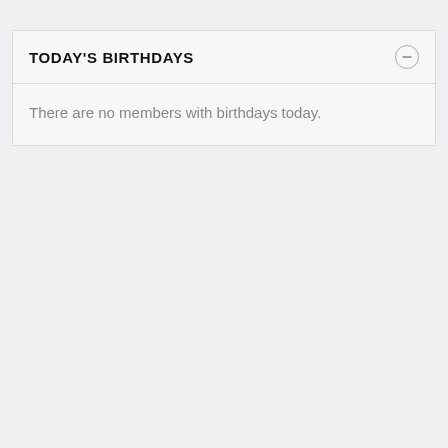TODAY'S BIRTHDAYS
There are no members with birthdays today.